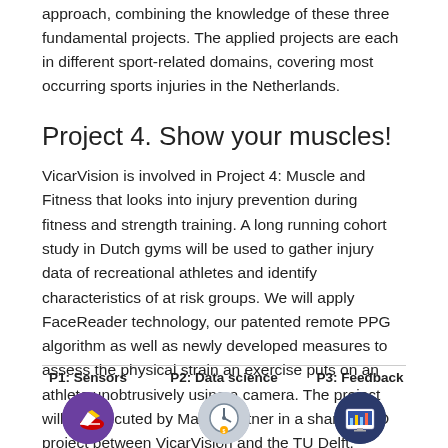approach, combining the knowledge of these three fundamental projects. The applied projects are each in different sport-related domains, covering most occurring sports injuries in the Netherlands.
Project 4. Show your muscles!
VicarVision is involved in Project 4: Muscle and Fitness that looks into injury prevention during fitness and strength training. A long running cohort study in Dutch gyms will be used to gather injury data of recreational athletes and identify characteristics of at risk groups. We will apply FaceReader technology, our patented remote PPG algorithm as well as newly developed measures to assess the physical strain an exercise puts on an athlete unobtrusively using a camera. The project will be executed by Marian Bittner in a shared PhD project between VicarVision and the TU Delft.
[Figure (illustration): Footer with three columns: P1: Sensors with purple circle icon showing a shoe/running illustration, P2: Data science with gray circle icon showing a clock/data illustration, P3: Feedback with navy circle icon showing a screen/feedback illustration]